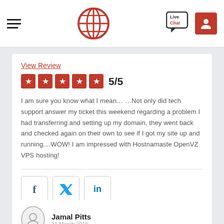Hostnamaste — navigation header with logo and live chat
View Review
5/5
I am sure you know what I mean… …Not only did tech support answer my ticket this weekend regarding a problem I had transferring and setting up my domain, they went back and checked again on their own to see if I got my site up and running....WOW! I am impressed with Hostnamaste OpenVZ VPS hosting!
[Figure (other): Social share buttons: Facebook, Twitter, LinkedIn]
Jamal Pitts